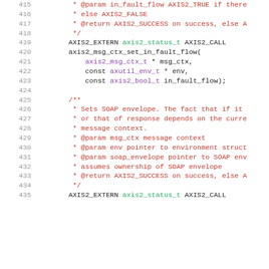Code listing lines 415-435: axis2_msg_ctx_set_in_fault_flow and related documentation comments in C header file.